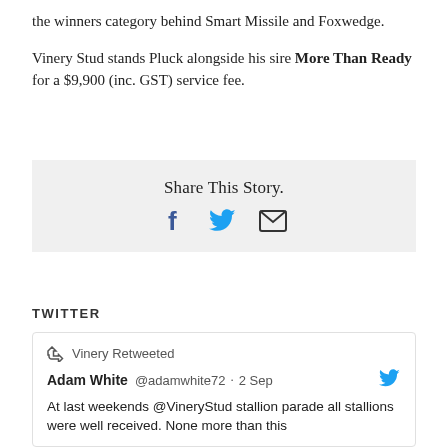the winners category behind Smart Missile and Foxwedge.

Vinery Stud stands Pluck alongside his sire More Than Ready for a $9,900 (inc. GST) service fee.
[Figure (infographic): Share This Story box with Facebook, Twitter, and email icons]
TWITTER
Vinery Retweeted
Adam White @adamwhite72 · 2 Sep
At last weekends @VineryStud stallion parade all stallions were well received. None more than this